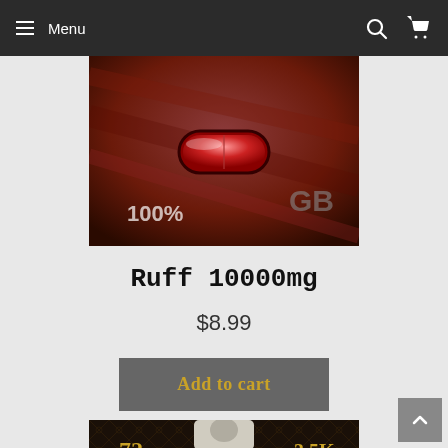Menu
[Figure (photo): Product image of Ruff 10000mg showing a red capsule pill on a blister pack with 100% text visible]
Ruff 10000mg
$8.99
Add to cart
[Figure (photo): Product image of Justin Sane Leather supplement packaging showing 72 hours and 3.5K labels on dark patterned background]